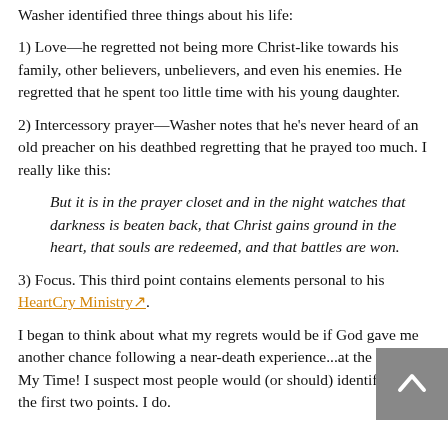Washer identified three things about his life:
1) Love—he regretted not being more Christ-like towards his family, other believers, unbelievers, and even his enemies. He regretted that he spent too little time with his young daughter.
2) Intercessory prayer—Washer notes that he's never heard of an old preacher on his deathbed regretting that he prayed too much. I really like this:
But it is in the prayer closet and in the night watches that darkness is beaten back, that Christ gains ground in the heart, that souls are redeemed, and that battles are won.
3) Focus. This third point contains elements personal to his HeartCry Ministry.
I began to think about what my regrets would be if God gave me another chance following a near-death experience...at the End of My Time! I suspect most people would (or should) identify with the first two points. I do.